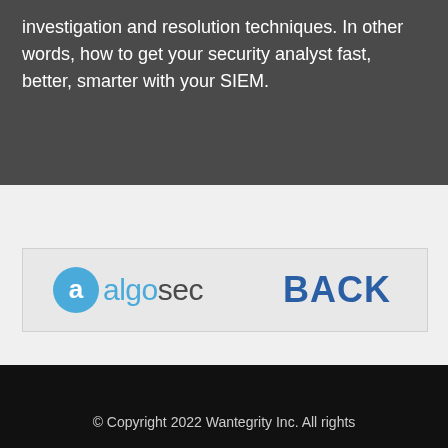investigation and resolution techniques. In other words, how to get your security analyst fast, better, smarter with your SIEM.
[Figure (logo): AlgoSec logo with circular blue icon and text 'algosec', alongside partial 'BACK' text in blue]
© Copyright 2022 Wantegrity Inc. All rights